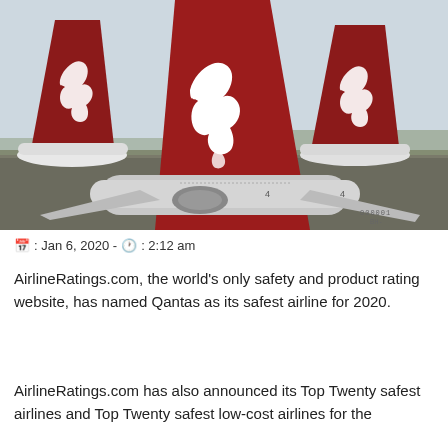[Figure (photo): Three Qantas aircraft tail fins with distinctive red kangaroo logos on a tarmac, photographed from a low angle against a light sky.]
📅 : Jan 6, 2020 - 🕐 : 2:12 am
AirlineRatings.com, the world's only safety and product rating website, has named Qantas as its safest airline for 2020.
AirlineRatings.com has also announced its Top Twenty safest airlines and Top Twenty safest low-cost airlines for the...